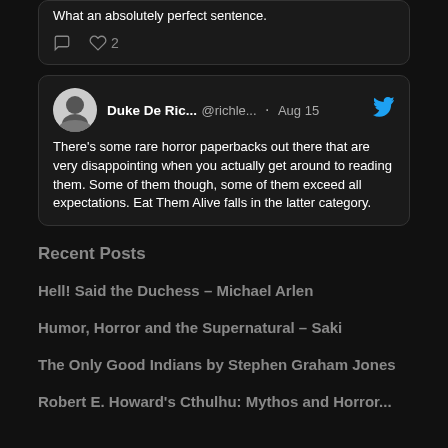What an absolutely perfect sentence.
♡ 2
Duke De Ric... @richle... · Aug 15 — There's some rare horror paperbacks out there that are very disappointing when you actually get around to reading them. Some of them though, some of them exceed all expectations. Eat Them Alive falls in the latter category.
Recent Posts
Hell! Said the Duchess – Michael Arlen
Humor, Horror and the Supernatural – Saki
The Only Good Indians by Stephen Graham Jones
Robert E. Howard's Cthulhu: Mythos and Horror...